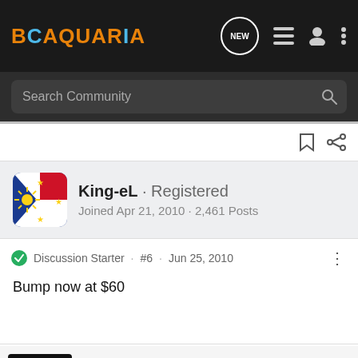BCaquaria · Navigation bar with Search Community
King-eL · Registered
Joined Apr 21, 2010 · 2,461 Posts
Discussion Starter · #6 · Jun 25, 2010
Bump now at $60
Balhome
Your Luxury Home Furnisher
Open